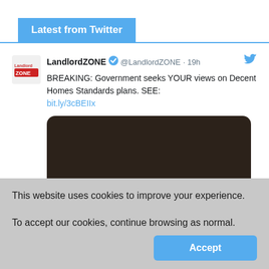Latest from Twitter
LandlordZONE @LandlordZONE · 19h
BREAKING: Government seeks YOUR views on Decent Homes Standards plans. SEE:
bit.ly/3cBEIIx
[Figure (other): Dark brown/black rectangle, a media preview image embedded in the tweet, mostly obscured.]
This website uses cookies to improve your experience.
To accept our cookies, continue browsing as normal.